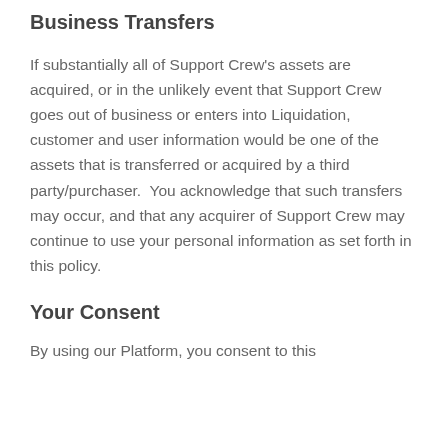Business Transfers
If substantially all of Support Crew's assets are acquired, or in the unlikely event that Support Crew goes out of business or enters into Liquidation, customer and user information would be one of the assets that is transferred or acquired by a third party/purchaser.  You acknowledge that such transfers may occur, and that any acquirer of Support Crew may continue to use your personal information as set forth in this policy.
Your Consent
By using our Platform, you consent to this